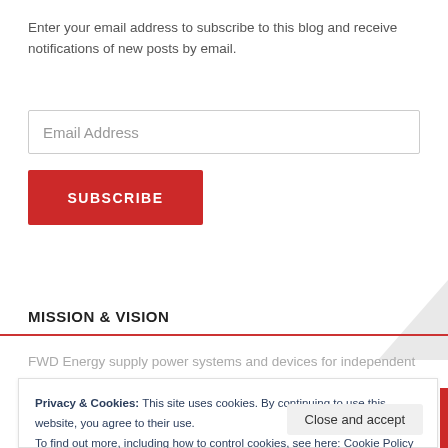Enter your email address to subscribe to this blog and receive notifications of new posts by email.
Email Address
SUBSCRIBE
MISSION & VISION
FWD Energy supply power systems and devices for independent use
Privacy & Cookies: This site uses cookies. By continuing to use this website, you agree to their use.
To find out more, including how to control cookies, see here: Cookie Policy
Close and accept